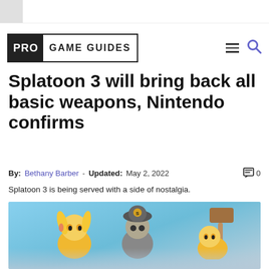Pro Game Guides
Splatoon 3 will bring back all basic weapons, Nintendo confirms
By: Bethany Barber - Updated: May 2, 2022
Splatoon 3 is being served with a side of nostalgia.
[Figure (photo): Splatoon 3 characters with weapons against a blue sky background]